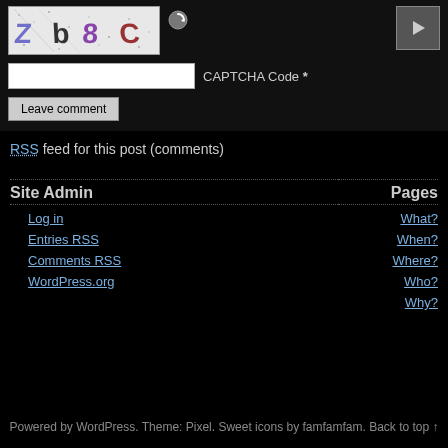[Figure (screenshot): CAPTCHA image showing distorted characters 'Zb8C' with noise background]
[Figure (other): Circular refresh/reload icon button]
[Figure (other): Play button (triangle) in a grey square]
CAPTCHA Code *
Leave comment
RSS feed for this post (comments)
Site Admin
Pages
Log in
Entries RSS
Comments RSS
WordPress.org
What?
When?
Where?
Who?
Why?
Powered by WordPress. Theme: Pixel. Sweet icons by famfamfam. Back to top ↑